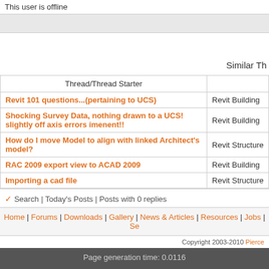This user is offline
Similar Th
| Thread/Thread Starter |  |
| --- | --- |
| Revit 101 questions...(pertaining to UCS) | Revit Building |
| Shocking Survey Data, nothing drawn to a UCS! slightly off axis errors imenent!! | Revit Building |
| How do I move Model to align with linked Architect's model? | Revit Structure |
| RAC 2009 export view to ACAD 2009 | Revit Building |
| Importing a cad file | Revit Structure |
Search | Today's Posts | Posts with 0 replies
Home | Forums | Downloads | Gallery | News & Articles | Resources | Jobs | Se
Copyright 2003-2010 Pierce
Page generation time: 0.0116